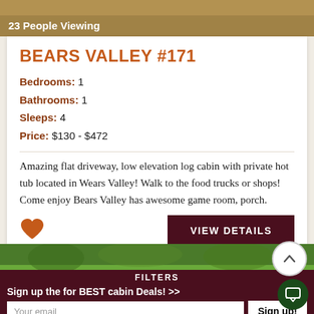[Figure (photo): Landscape outdoor photo showing gravel/earth ground visible at top, with a tan/brown banner overlay showing '23 People Viewing']
BEARS VALLEY #171
Bedrooms: 1
Bathrooms: 1
Sleeps: 4
Price: $130 - $472
Amazing flat driveway, low elevation log cabin with private hot tub located in Wears Valley! Walk to the food trucks or shops! Come enjoy Bears Valley has awesome game room, porch.
[Figure (other): Orange heart icon (favorite/wishlist button)]
VIEW DETAILS
[Figure (photo): Green forested hillside photo at bottom of page]
FILTERS
Sign up the for BEST cabin Deals! >>
Your email
Sign up!